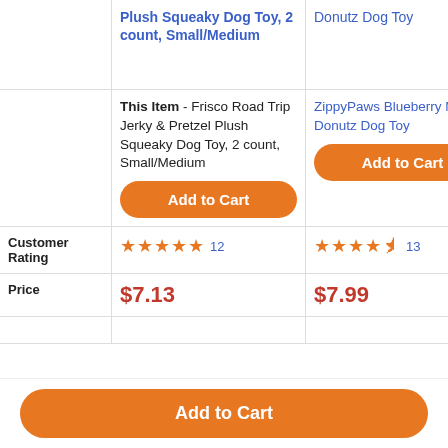|  | Plush Squeaky Dog Toy, 2 count, Small/Medium | Donutz Dog Toy | In... Cl... Pr... Pl... |
| --- | --- | --- | --- |
|  | This Item - Frisco Road Trip Jerky & Pretzel Plush Squeaky Dog Toy, 2 count, Small/Medium [Add to Cart] | ZippyPaws Blueberry Mini Donutz Dog Toy [Add to Cart] | [Add to Cart] |
| Customer Rating | ★★★★★ 12 | ★★★★½ 13 | ★... |
| Price | $7.13 | $7.99 | $9... |
Add to Cart